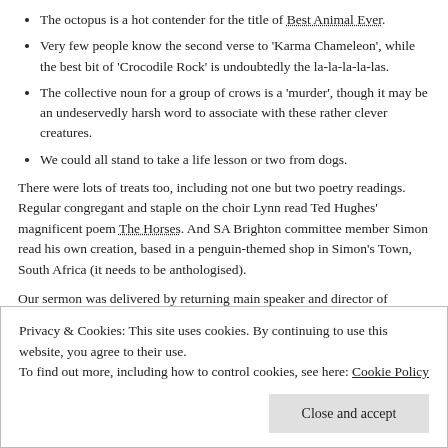The octopus is a hot contender for the title of Best Animal Ever.
Very few people know the second verse to 'Karma Chameleon', while the best bit of 'Crocodile Rock' is undoubtedly the la-la-la-la-las.
The collective noun for a group of crows is a 'murder', though it may be an undeservedly harsh word to associate with these rather clever creatures.
We could all stand to take a life lesson or two from dogs.
There were lots of treats too, including not one but two poetry readings. Regular congregant and staple on the choir Lynn read Ted Hughes' magnificent poem The Horses. And SA Brighton committee member Simon read his own creation, based in a penguin-themed shop in Simon's Town, South Africa (it needs to be anthologised).
Our sermon was delivered by returning main speaker and director of February's Brighton Science Festival Richard Robinson, who took us on a
Privacy & Cookies: This site uses cookies. By continuing to use this website, you agree to their use.
To find out more, including how to control cookies, see here: Cookie Policy